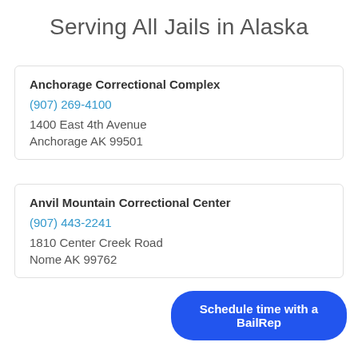Serving All Jails in Alaska
Anchorage Correctional Complex
(907) 269-4100
1400 East 4th Avenue
Anchorage AK 99501
Anvil Mountain Correctional Center
(907) 443-2241
1810 Center Creek Road
Nome AK 99762
Schedule time with a BailRep